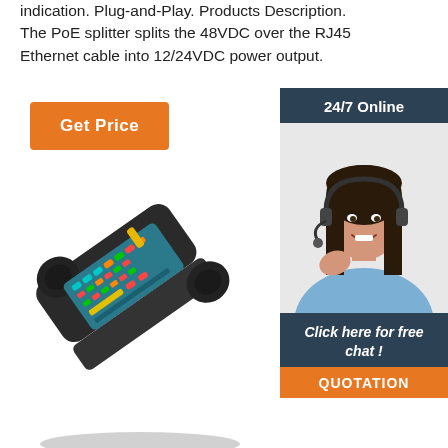indication. Plug-and-Play. Products Description. The PoE splitter splits the 48VDC over the RJ45 Ethernet cable into 12/24VDC power output.
[Figure (other): Orange 'Get Price' button]
[Figure (other): Customer service sidebar with '24/7 Online' header, photo of woman with headset, 'Click here for free chat!' text, and orange QUOTATION button]
[Figure (photo): Black handheld network cable tester device photographed at an angle, showing colorful LED indicators on its face]